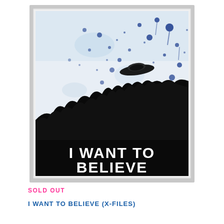[Figure (photo): A canvas artwork displaying 'I WANT TO BELIEVE' text in white on a black silhouette of trees at the bottom, with blue paint splatter and a UFO flying saucer silhouette against a white/light blue background, referencing the X-Files TV show poster.]
SOLD OUT
I WANT TO BELIEVE (X-FILES)